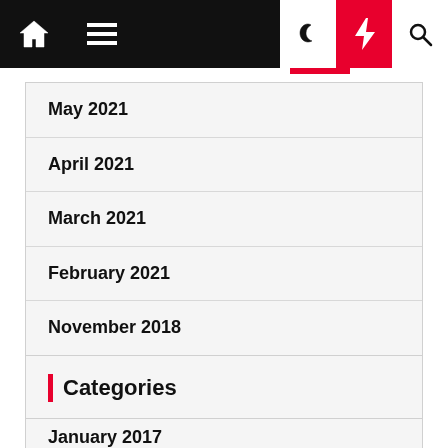[Figure (screenshot): Website navigation bar with home icon, hamburger menu, moon icon, red lightning bolt icon, and search icon on dark background]
May 2021
April 2021
March 2021
February 2021
November 2018
October 2018
January 2017
Categories